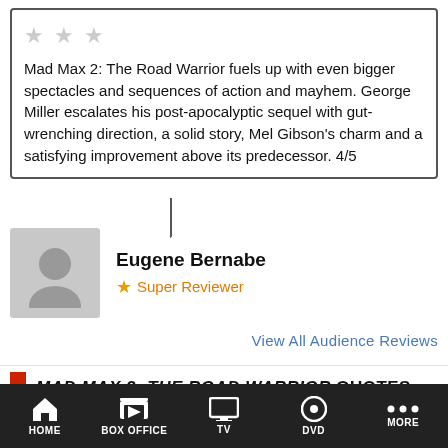Mad Max 2: The Road Warrior fuels up with even bigger spectacles and sequences of action and mayhem. George Miller escalates his post-apocalyptic sequel with gut-wrenching direction, a solid story, Mel Gibson's charm and a satisfying improvement above its predecessor. 4/5
Eugene Bernabe
★ Super Reviewer
View All Audience Reviews
MAD MAX 2: THE ROAD WARRIOR QUOTES
Mad Max: You wanna get out of here? You talk to me.
Mad Max: Two days ago I saw a vehicle that would haul that